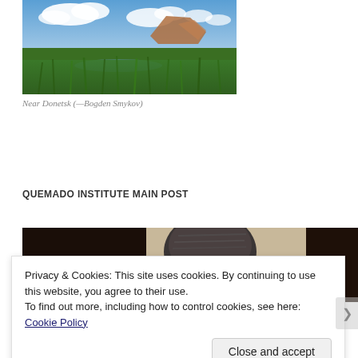[Figure (photo): Landscape photo near Donetsk showing green fields, wetlands, and rock formations under a partly cloudy sky]
Near Donetsk (—Bogden Smykov)
QUEMADO INSTITUTE MAIN POST
[Figure (photo): Partial photo of a person seen from behind/side, showing the back of a head with dark grey hair, against a dark background]
Privacy & Cookies: This site uses cookies. By continuing to use this website, you agree to their use.
To find out more, including how to control cookies, see here: Cookie Policy
Close and accept